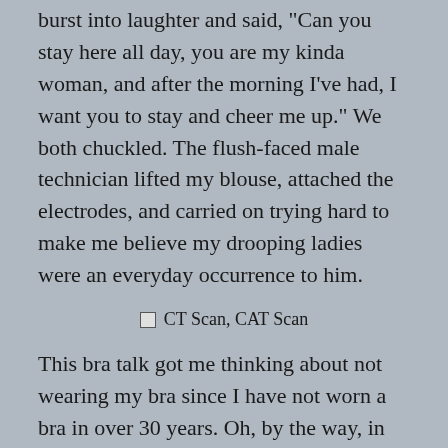burst into laughter and said, "Can you stay here all day, you are my kinda woman, and after the morning I've had, I want you to stay and cheer me up." We both chuckled. The flush-faced male technician lifted my blouse, attached the electrodes, and carried on trying hard to make me believe my drooping ladies were an everyday occurrence to him.
[Figure (other): CT Scan, CAT Scan image placeholder with caption text]
This bra talk got me thinking about not wearing my bra since I have not worn a bra in over 30 years. Oh, by the way, in case anyone is saying, “Ewwww,” right about now, I always wear two layers or at least a camisole, so my girl’s nipples won’t offend. I have found that